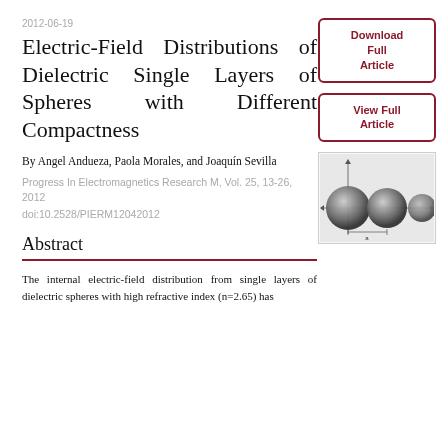2012-06-19
Electric-Field Distributions of Dielectric Single Layers of Spheres with Different Compactness
By Angel Andueza, Paola Morales, and Joaquín Sevilla
Progress In Electromagnetics Research M, Vol. 25, 13-26, 2012
doi:10.2528/PIERM12042012
[Figure (other): Button: Download Full Article]
[Figure (other): Button: View Full Article]
[Figure (illustration): Diagram showing three dielectric spheres arranged in a row with coordinate axes]
Abstract
The internal electric-field distribution from single layers of dielectric spheres with high refractive index (n=2.65) has